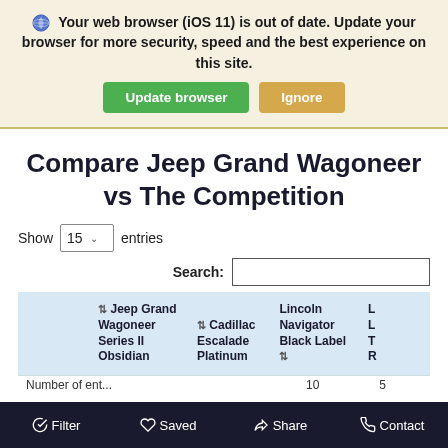Your web browser (iOS 11) is out of date. Update your browser for more security, speed and the best experience on this site.
Update browser | Ignore
Compare Jeep Grand Wagoneer vs The Competition
Show 15 entries
Search:
|  | Jeep Grand Wagoneer Series II Obsidian | Cadillac Escalade Platinum | Lincoln Navigator Black Label | L... |
| --- | --- | --- | --- | --- |
| Number of... | 10 | 5 |  |
Filter | Saved | Share | Contact